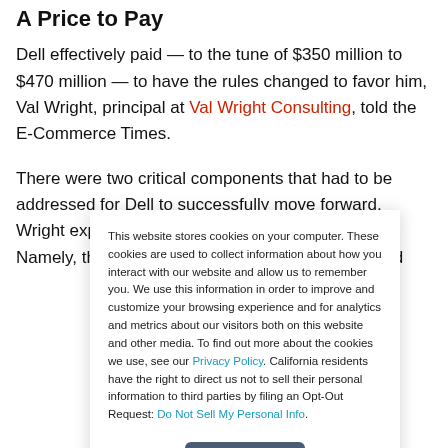A Price to Pay
Dell effectively paid — to the tune of $350 million to $470 million — to have the rules changed to favor him, Val Wright, principal at Val Wright Consulting, told the E-Commerce Times.
There were two critical components that had to be addressed for Dell to successfully move forward, Wright explained.
Namely, the record date needed to be changed and absentee
This website stores cookies on your computer. These cookies are used to collect information about how you interact with our website and allow us to remember you. We use this information in order to improve and customize your browsing experience and for analytics and metrics about our visitors both on this website and other media. To find out more about the cookies we use, see our Privacy Policy. California residents have the right to direct us not to sell their personal information to third parties by filing an Opt-Out Request: Do Not Sell My Personal Info.